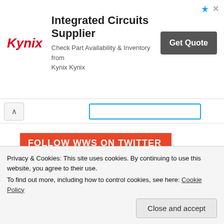[Figure (screenshot): Kynix Integrated Circuits Supplier advertisement banner with logo, text, and Get Quote button]
FOLLOW WWS ON TWITTER
[Figure (screenshot): Embedded tweet from What's Worth @wwsnew... · Aug 16 reading: #SexAndTheCity creator #DarrenStar swaps straight women for gay men, adds Grindr to bring it up to date and delivers largely the same experience #hashtag]
Privacy & Cookies: This site uses cookies. By continuing to use this website, you agree to their use. To find out more, including how to control cookies, see here: Cookie Policy
Close and accept